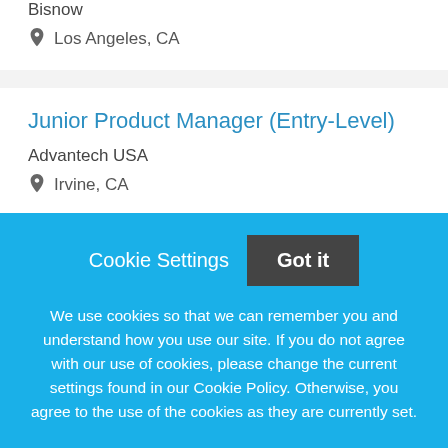Bisnow
Los Angeles, CA
Junior Product Manager (Entry-Level)
Advantech USA
Irvine, CA
Account Manager - Entry Level
Cookie Settings
Got it
We use cookies so that we can remember you and understand how you use our site. If you do not agree with our use of cookies, please change the current settings found in our Cookie Policy. Otherwise, you agree to the use of the cookies as they are currently set.